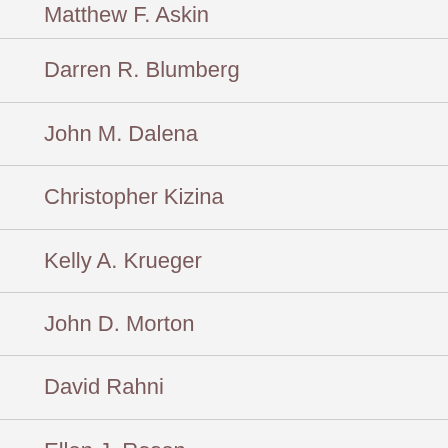Matthew F. Askin
Darren R. Blumberg
John M. Dalena
Christopher Kizina
Kelly A. Krueger
John D. Morton
David Rahni
Ellen J. Rosen